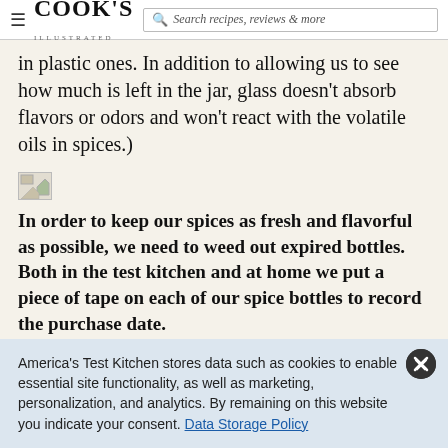COOK'S ILLUSTRATED — Search recipes, reviews & more
in plastic ones. In addition to allowing us to see how much is left in the jar, glass doesn't absorb flavors or odors and won't react with the volatile oils in spices.)
[Figure (photo): Small broken/placeholder image icon]
In order to keep our spices as fresh and flavorful as possible, we need to weed out expired bottles. Both in the test kitchen and at home we put a piece of tape on each of our spice bottles to record the purchase date.
America's Test Kitchen stores data such as cookies to enable essential site functionality, as well as marketing, personalization, and analytics. By remaining on this website you indicate your consent. Data Storage Policy